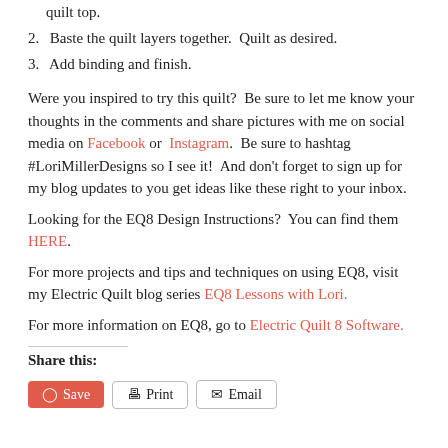quilt top.
2. Baste the quilt layers together.  Quilt as desired.
3. Add binding and finish.
Were you inspired to try this quilt?  Be sure to let me know your thoughts in the comments and share pictures with me on social media on Facebook or  Instagram.  Be sure to hashtag #LoriMillerDesigns so I see it!  And don't forget to sign up for my blog updates to you get ideas like these right to your inbox.
Looking for the EQ8 Design Instructions?  You can find them HERE.
For more projects and tips and techniques on using EQ8, visit my Electric Quilt blog series EQ8 Lessons with Lori.
For more information on EQ8, go to Electric Quilt 8 Software.
Share this: